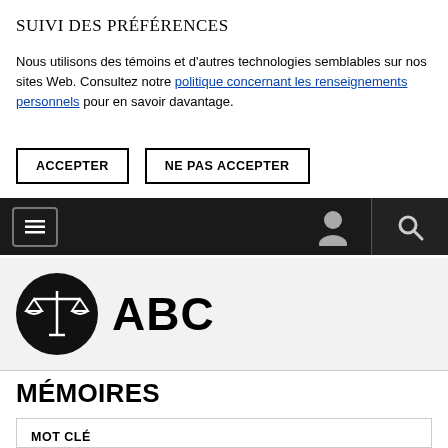SUIVI DES PRÉFÉRENCES
Nous utilisons des témoins et d'autres technologies semblables sur nos sites Web. Consultez notre politique concernant les renseignements personnels pour en savoir davantage.
ACCEPTER
NE PAS ACCEPTER
[Figure (screenshot): Navigation bar with hamburger menu icon on left, user icon and search icon on right, dark background]
[Figure (logo): ABC logo with scales of justice icon in a black circle]
MÉMOIRES
MOT CLÉ